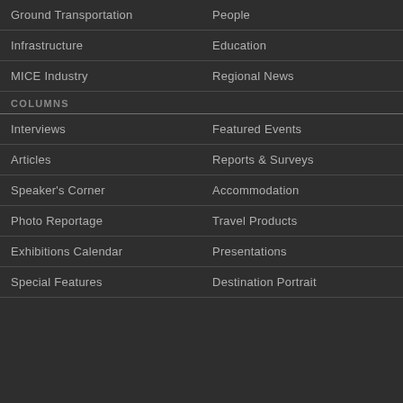Ground Transportation
People
Infrastructure
Education
MICE Industry
Regional News
COLUMNS
Interviews
Featured Events
Articles
Reports & Surveys
Speaker's Corner
Accommodation
Photo Reportage
Travel Products
Exhibitions Calendar
Presentations
Special Features
Destination Portrait